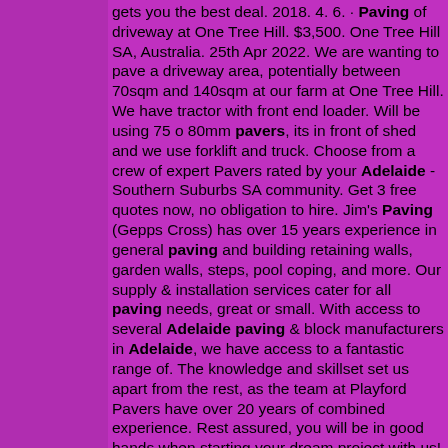gets you the best deal. 2018. 4. 6. · Paving of driveway at One Tree Hill. $3,500. One Tree Hill SA, Australia. 25th Apr 2022. We are wanting to pave a driveway area, potentially between 70sqm and 140sqm at our farm at One Tree Hill. We have tractor with front end loader. Will be using 75 o 80mm pavers, its in front of shed and we use forklift and truck. Choose from a crew of expert Pavers rated by your Adelaide - Southern Suburbs SA community. Get 3 free quotes now, no obligation to hire. Jim's Paving (Gepps Cross) has over 15 years experience in general paving and building retaining walls, garden walls, steps, pool coping, and more. Our supply & installation services cater for all paving needs, great or small. With access to several Adelaide paving & block manufacturers in Adelaide, we have access to a fantastic range of. The knowledge and skillset set us apart from the rest, as the team at Playford Pavers have over 20 years of combined experience. Rest assured, you will be in good hands when starting your dream project with us! Contact us on 08 8258 8945 to get a quote today! Call Us. Paving, landscaping, bobcat, earthmoving, maintenance and handyman services in the Northern suburbs of Adelaide, South Australia. Handyman Glenn at Adlard Paving 0409 282 493. Home; Services; Portfolio; Recommendations; About Me; My Services . Licence number BLD 104827 I can offer the entire range of services